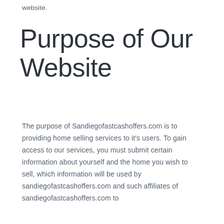website.
Purpose of Our Website
The purpose of Sandiegofastcashoffers.com is to providing home selling services to it’s users. To gain access to our services, you must submit certain information about yourself and the home you wish to sell, which information will be used by sandiegofastcashoffers.com and such affiliates of sandiegofastcashoffers.com to